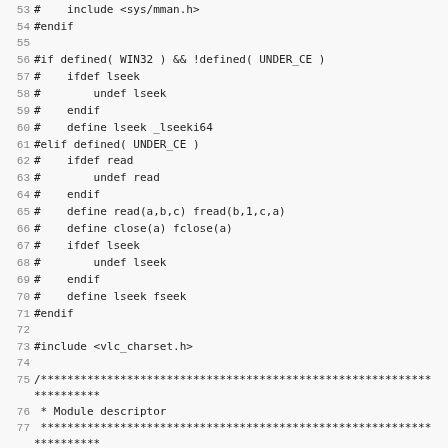Source code listing, lines 53–85, showing preprocessor directives, includes, and module descriptor for a VLC media player module file.